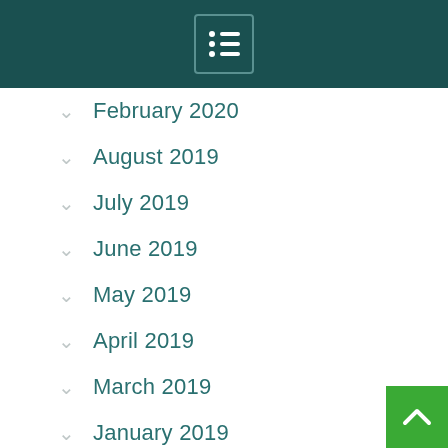Menu icon with list symbol
February 2020
August 2019
July 2019
June 2019
May 2019
April 2019
March 2019
January 2019
December 2018
November 2018
October 2018
September 2018